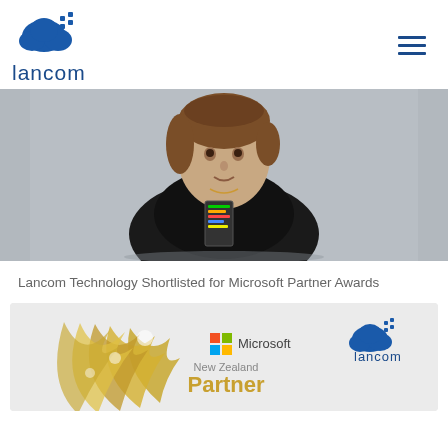lancom
[Figure (photo): Young man with brown hair wearing a black t-shirt with a graphic print, photographed against a grey background]
Lancom Technology Shortlisted for Microsoft Partner Awards
[Figure (illustration): Microsoft New Zealand Partner award badge with golden flame/feather design, Microsoft logo, and Lancom logo overlay]